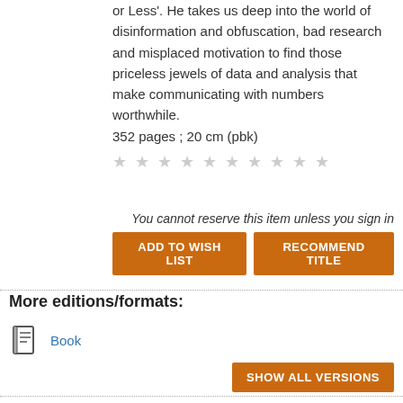or Less'. He takes us deep into the world of disinformation and obfuscation, bad research and misplaced motivation to find those priceless jewels of data and analysis that make communicating with numbers worthwhile. 352 pages ; 20 cm (pbk)
★ ★ ★ ★ ★ ★ ★ ★ ★ ★
You cannot reserve this item unless you sign in
ADD TO WISH LIST
RECOMMEND TITLE
More editions/formats:
Book
SHOW ALL VERSIONS